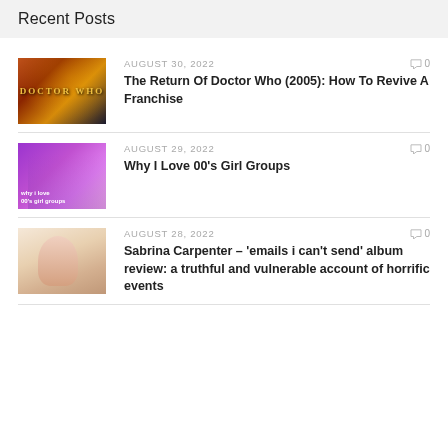Recent Posts
AUGUST 30, 2022 — The Return Of Doctor Who (2005): How To Revive A Franchise
AUGUST 29, 2022 — Why I Love 00's Girl Groups
AUGUST 28, 2022 — Sabrina Carpenter – 'emails i can't send' album review: a truthful and vulnerable account of horrific events